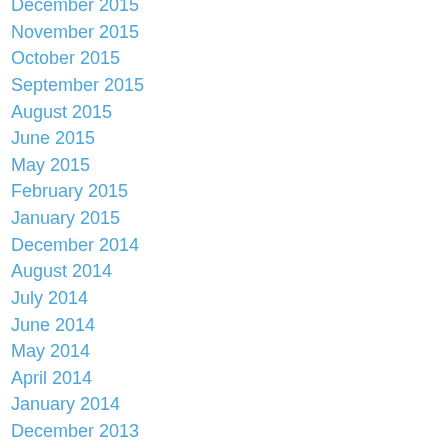December 2015
November 2015
October 2015
September 2015
August 2015
June 2015
May 2015
February 2015
January 2015
December 2014
August 2014
July 2014
June 2014
May 2014
April 2014
January 2014
December 2013
November 2013
October 2013
September 2013
August 2013